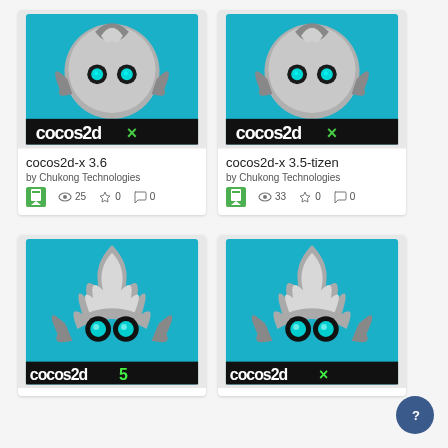[Figure (screenshot): Grid of Cocos2d-x software package cards showing logos and metadata]
cocos2d-x 3.6
by Chukong Technologies
25 views, 0 stars, 0 comments
cocos2d-x 3.5-tizen
by Chukong Technologies
33 views, 0 stars, 0 comments